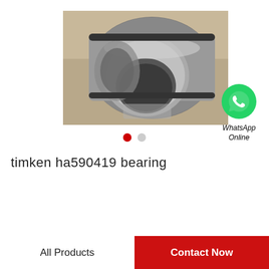[Figure (photo): Close-up photo of a Timken HA590419 wheel bearing, showing a metallic cylindrical bearing component with a ring, placed on a cardboard surface.]
[Figure (logo): WhatsApp green phone icon with text 'WhatsApp Online' below it in italic.]
timken ha590419 bearing
All Products
Contact Now